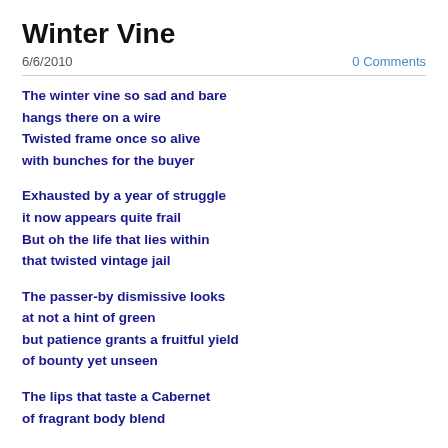Winter Vine
6/6/2010
0 Comments
The winter vine so sad and bare
hangs there on a wire
Twisted frame once so alive
with bunches for the buyer

Exhausted by a year of struggle
it now appears quite frail
But oh the life that lies within
that twisted vintage jail

The passer-by dismissive looks
at not a hint of green
but patience grants a fruitful yield
of bounty yet unseen

The lips that taste a Cabernet
of fragrant body blend